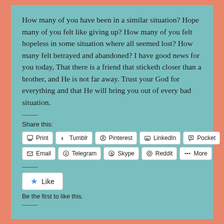How many of you have been in a similar situation? Hope many of you felt like giving up? How many of you felt hopeless in some situation where all seemed lost? How many felt betrayed and abandoned? I have good news for you today, That there is a friend that sticketh closer than a brother, and He is not far away. Trust your God for everything and that He will bring you out of every bad situation.
Share this:
[Figure (other): Share buttons row 1: Print, Tumblr, Pinterest, LinkedIn, Pocket]
[Figure (other): Share buttons row 2: Email, Telegram, Skype, Reddit, More]
[Figure (other): Like button with star icon]
Be the first to like this.